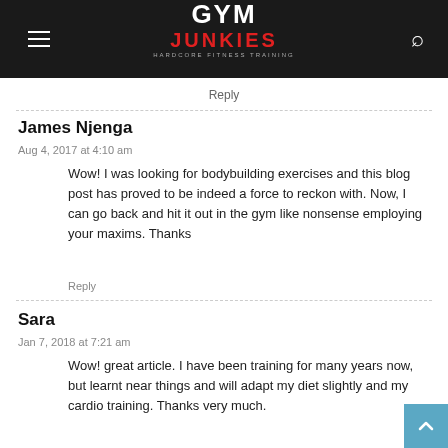GYM JUNKIES — HARDCORE FITNESS TRAINING
Reply
James Njenga
Aug 4, 2017 at 4:10 am
Wow! I was looking for bodybuilding exercises and this blog post has proved to be indeed a force to reckon with. Now, I can go back and hit it out in the gym like nonsense employing your maxims. Thanks
Reply
Sara
Jan 7, 2018 at 7:21 am
Wow! great article. I have been training for many years now, but learnt near things and will adapt my diet slightly and my cardio training. Thanks very much.